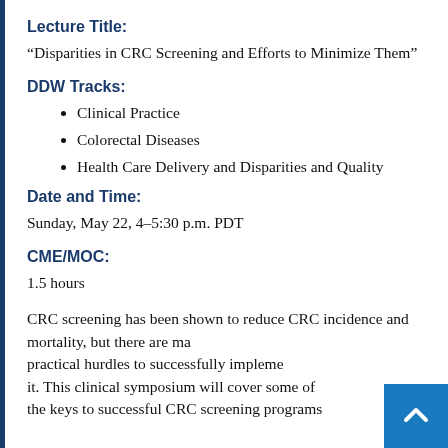Lecture Title:
“Disparities in CRC Screening and Efforts to Minimize Them”
DDW Tracks:
Clinical Practice
Colorectal Diseases
Health Care Delivery and Disparities and Quality
Date and Time:
Sunday, May 22, 4–5:30 p.m. PDT
CME/MOC:
1.5 hours
CRC screening has been shown to reduce CRC incidence and mortality, but there are many practical hurdles to successfully implement it. This clinical symposium will cover some of the keys to successful CRC screening programs